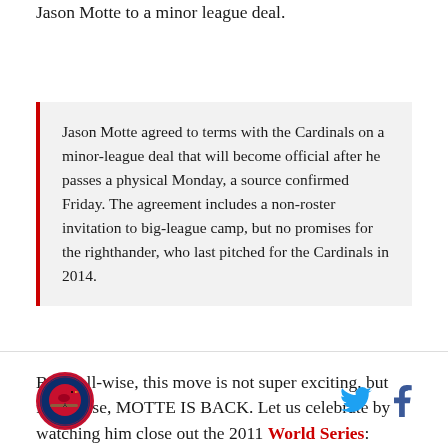Jason Motte to a minor league deal.
Jason Motte agreed to terms with the Cardinals on a minor-league deal that will become official after he passes a physical Monday, a source confirmed Friday. The agreement includes a non-roster invitation to big-league camp, but no promises for the righthander, who last pitched for the Cardinals in 2014.
Baseball-wise, this move is not super exciting, but feels-wise, MOTTE IS BACK. Let us celebrate by watching him close out the 2011 World Series:
[Figure (logo): St. Louis Cardinals circular logo with bird on bat]